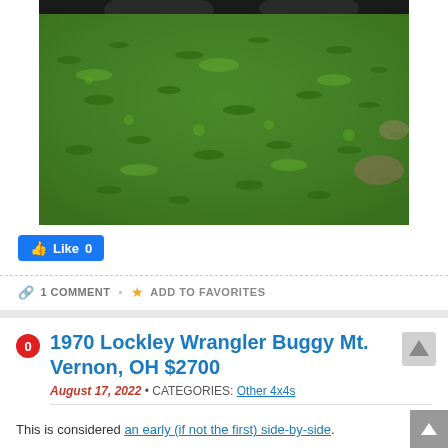[Figure (photo): A photo showing green grass and clover ground cover, partial view of vehicle tires at the top edge]
Like 0
1 COMMENT • ADD TO FAVORITES
1970 Lockley Wrangler Buggy Mt. Vernon, OH $2700
August 17, 2022 • CATEGORIES: Other 4x4s
This is considered an early (if not the first) side-by-side.